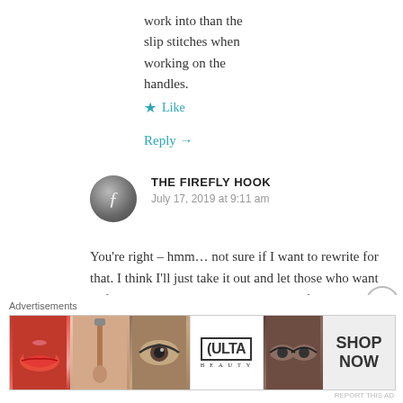work into than the slip stitches when working on the handles.
★ Like
Reply →
THE FIREFLY HOOK
July 17, 2019 at 9:11 am
You're right – hmm… not sure if I want to rewrite for that. I think I'll just take it out and let those who want to fiddle with the handles go ahead and fiddle ha:)
Advertisements
[Figure (photo): Ulta Beauty advertisement banner with makeup imagery including lips, brush, eye, Ulta logo, more eye makeup, and Shop Now text]